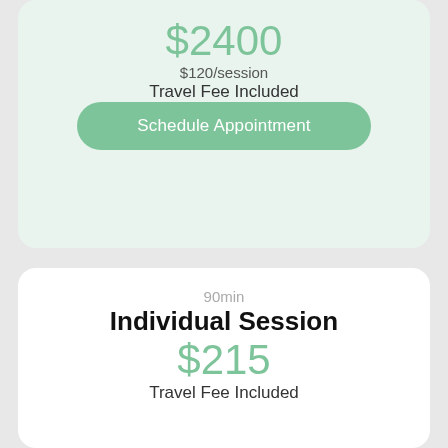$2400
$120/session
Travel Fee Included
Schedule Appointment
90min
Individual Session
$215
Travel Fee Included